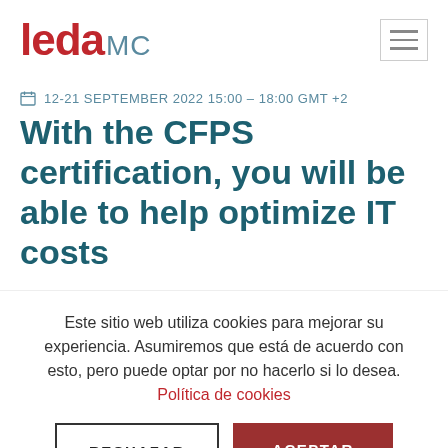leda MC
12-21 SEPTEMBER 2022 15:00 – 18:00 GMT +2
With the CFPS certification, you will be able to help optimize IT costs
Este sitio web utiliza cookies para mejorar su experiencia. Asumiremos que está de acuerdo con esto, pero puede optar por no hacerlo si lo desea. Política de cookies
RECHAZAR | ACEPTAR